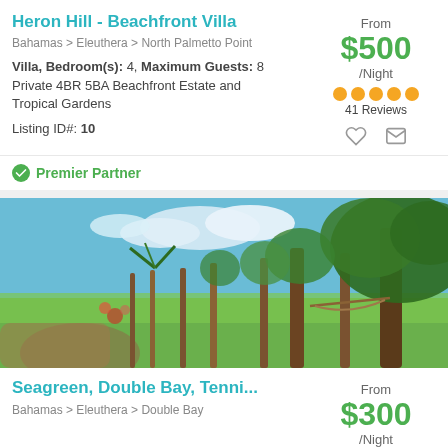Heron Hill - Beachfront Villa
Bahamas > Eleuthera > North Palmetto Point
Villa, Bedroom(s): 4, Maximum Guests: 8
Private 4BR 5BA Beachfront Estate and Tropical Gardens
Listing ID#: 10
From $500 /Night 41 Reviews
Premier Partner
[Figure (photo): Tropical garden scene with green lawn, palm trees, large shade trees, and blue sky with clouds]
Seagreen, Double Bay, Tenni...
Bahamas > Eleuthera > Double Bay
From $300 /Night